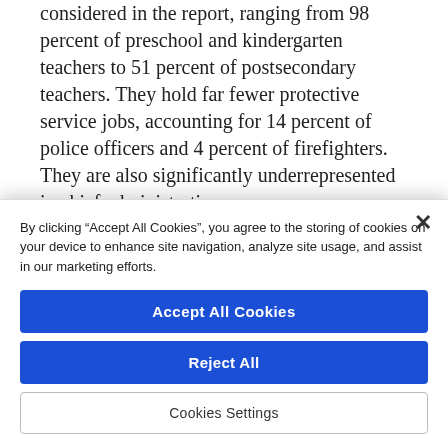considered in the report, ranging from 98 percent of preschool and kindergarten teachers to 51 percent of postsecondary teachers. They hold far fewer protective service jobs, accounting for 14 percent of police officers and 4 percent of firefighters. They are also significantly underrepresented in chief administrative offices, assistant chief administrative
By clicking “Accept All Cookies”, you agree to the storing of cookies on your device to enhance site navigation, analyze site usage, and assist in our marketing efforts.
Accept All Cookies
Reject All
Cookies Settings